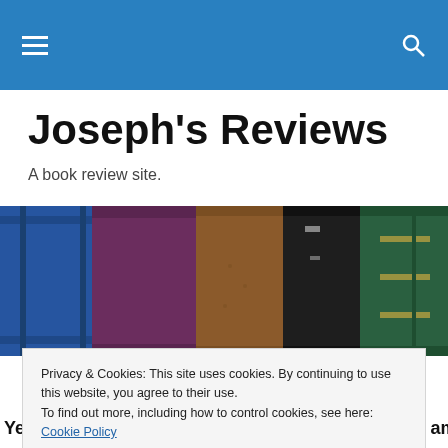Joseph's Reviews — navigation bar with hamburger menu and search icon
Joseph's Reviews
A book review site.
[Figure (photo): Row of antique book spines side by side: blue, purple, brown, dark black, and green cloth-bound books.]
Privacy & Cookies: This site uses cookies. By continuing to use this website, you agree to their use.
To find out more, including how to control cookies, see here: Cookie Policy
[Close and accept]
Yes, we're still giving away three (3) copies of the amazing